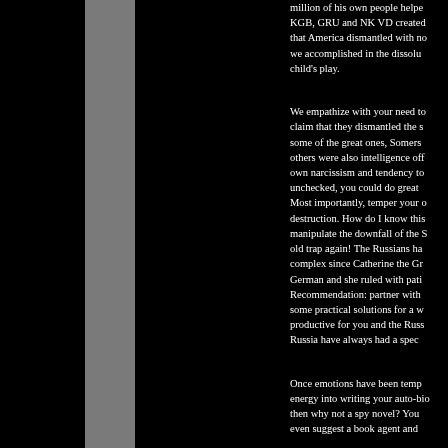million of his own people helped KGB, GRU and NK VD created that America dismantled with no we accomplished in the dissolu child's play.
We empathize with your need to claim that they dismantled the s some of the great ones, Somers others were also intelligence off own narcissism and tendency to unchecked, you could do great Most importantly, temper your o destruction. How do I know this manipulate the downfall of the S old trap again! The Russians ha complex since Catherine the Gr German and she ruled with pati Recommendation: partner with some practical solutions for a w productive for you and the Russ Russia have always had a spec
Once emotions have been temp energy into writing your auto-bi then why not a spy novel? You even suggest a book agent and